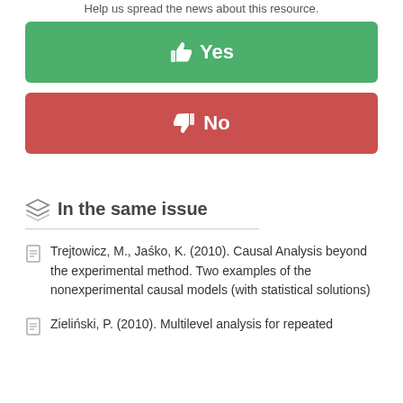Help us spread the news about this resource.
👍 Yes
👎 No
In the same issue
Trejtowicz, M., Jaśko, K. (2010). Causal Analysis beyond the experimental method. Two examples of the nonexperimental causal models (with statistical solutions)
Zieliński, P. (2010). Multilevel analysis for repeated